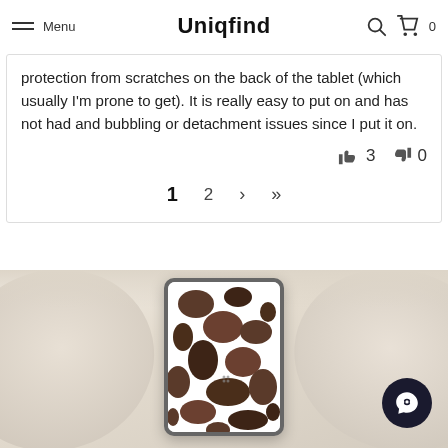Menu | Uniqfind | 0
protection from scratches on the back of the tablet (which usually I'm prone to get). It is really easy to put on and has not had and bubbling or detachment issues since I put it on.
👍 3  👎 0
1  2  >  >|
[Figure (photo): Photo of a tablet device with brown and white cow print skin/cover, placed on a white pillow/fabric background. A dark circular chat button is visible in the bottom right.]